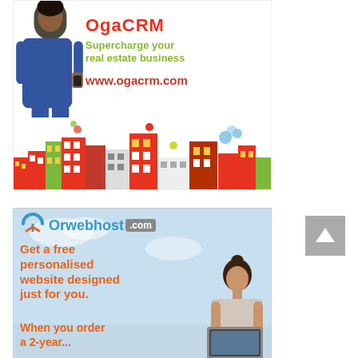[Figure (illustration): Advertisement for ogacrm.com showing a woman in a blue jumpsuit holding a phone, colorful cityscape at the bottom, text reads 'Supercharge your real estate business' and 'www.ogacrm.com']
[Figure (illustration): Advertisement for Orwebhost.com showing the logo with an orange/blue icon, text reads 'Get a free personalised website designed just for you. When you order a 2-year...' with a woman working on a laptop in the background]